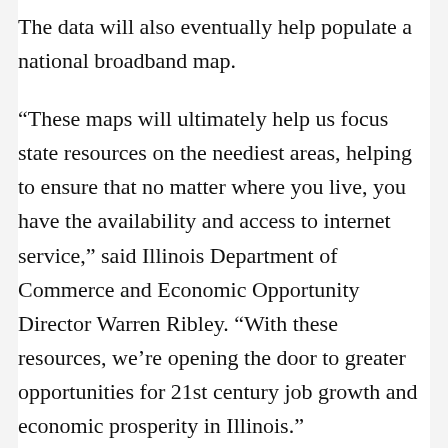The data will also eventually help populate a national broadband map.
“These maps will ultimately help us focus state resources on the neediest areas, helping to ensure that no matter where you live, you have the availability and access to internet service,” said Illinois Department of Commerce and Economic Opportunity Director Warren Ribley. “With these resources, we’re opening the door to greater opportunities for 21st century job growth and economic prosperity in Illinois.”
A long-time advocate of improving the state’s broadband access, Governor Quinn has taken many significant steps to ensure connectivity in all areas of Illinois. The Illinois Jobs Now! capital